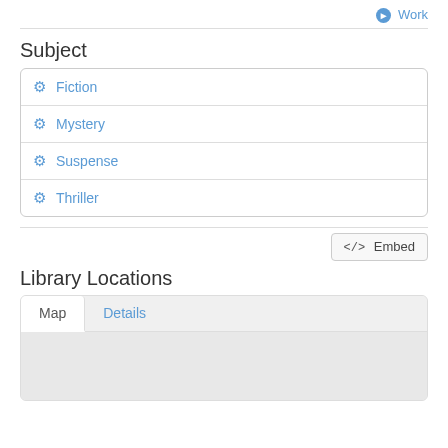Work
Subject
Fiction
Mystery
Suspense
Thriller
Embed
Library Locations
Map | Details